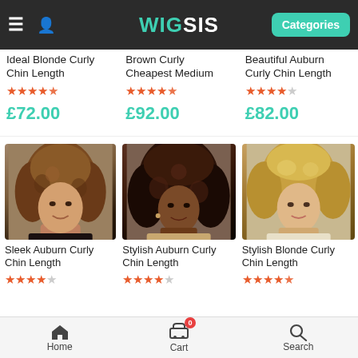WIG SIS — Categories
Ideal Blonde Curly Chin Length
Rating: 4.5 stars, £72.00
Brown Curly Cheapest Medium
Rating: 4.5 stars, £92.00
Beautiful Auburn Curly Chin Length
Rating: 4 stars, £82.00
[Figure (photo): Woman wearing Sleek Auburn Curly Chin Length wig]
Sleek Auburn Curly Chin Length
Rating: 4 stars (partial)
[Figure (photo): Woman wearing Stylish Auburn Curly Chin Length wig]
Stylish Auburn Curly Chin Length
Rating: 4 stars (partial)
[Figure (photo): Woman wearing Stylish Blonde Curly Chin Length wig]
Stylish Blonde Curly Chin Length
Rating: 4.5 stars (partial)
Home   Cart 0   Search